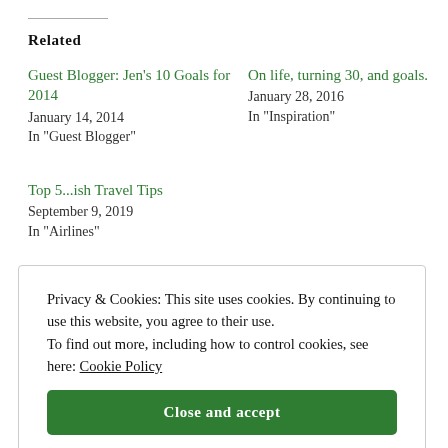Related
Guest Blogger: Jen's 10 Goals for 2014
January 14, 2014
In "Guest Blogger"
On life, turning 30, and goals.
January 28, 2016
In "Inspiration"
Top 5...ish Travel Tips
September 9, 2019
In "Airlines"
Privacy & Cookies: This site uses cookies. By continuing to use this website, you agree to their use. To find out more, including how to control cookies, see here: Cookie Policy
Close and accept